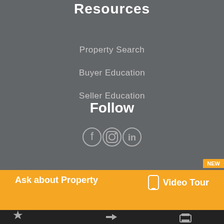Resources
Property Search
Buyer Education
Seller Education
Follow
[Figure (infographic): Social media icons: Facebook, Instagram, LinkedIn]
NEW
Ask about Property
Video Tour
[Figure (infographic): Bottom navigation bar with star, share arrow, and print icons]